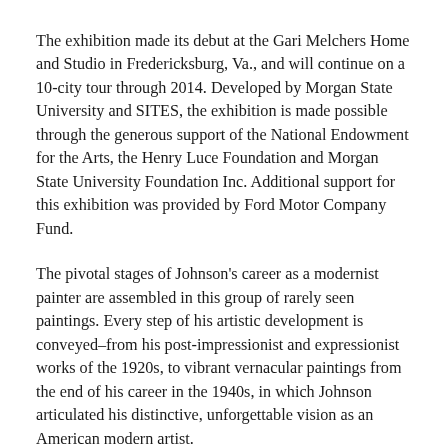The exhibition made its debut at the Gari Melchers Home and Studio in Fredericksburg, Va., and will continue on a 10-city tour through 2014. Developed by Morgan State University and SITES, the exhibition is made possible through the generous support of the National Endowment for the Arts, the Henry Luce Foundation and Morgan State University Foundation Inc. Additional support for this exhibition was provided by Ford Motor Company Fund.
The pivotal stages of Johnson's career as a modernist painter are assembled in this group of rarely seen paintings. Every step of his artistic development is conveyed–from his post-impressionist and expressionist works of the 1920s, to vibrant vernacular paintings from the end of his career in the 1940s, in which Johnson articulated his distinctive, unforgettable vision as an American modern artist.
The paintings boast a remarkable history. In 1956, the Harmon Foundation, a nonprofit that helped foster